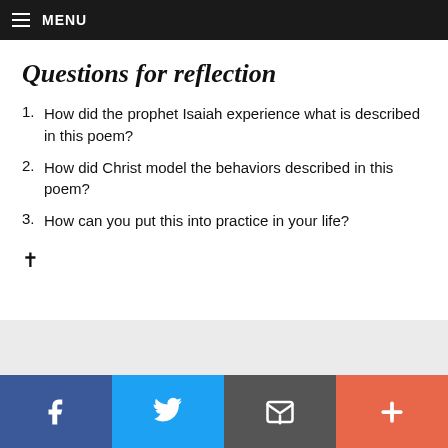MENU
Questions for reflection
How did the prophet Isaiah experience what is described in this poem?
How did Christ model the behaviors described in this poem?
How can you put this into practice in your life?